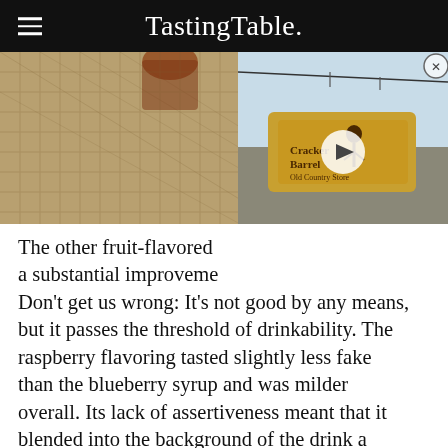Tasting Table.
[Figure (photo): Background photo of a textured wicker/mesh surface with an amber drink, overlaid by a Cracker Barrel Old Country Store sign video thumbnail with a play button]
The other fruit-flavored a substantial improveme Don't get us wrong: It's not good by any means, but it passes the threshold of drinkability. The raspberry flavoring tasted slightly less fake than the blueberry syrup and was milder overall. Its lack of assertiveness meant that it blended into the background of the drink a little bit better than the blueberry did. The raspberry flavoring still didn't seem like it